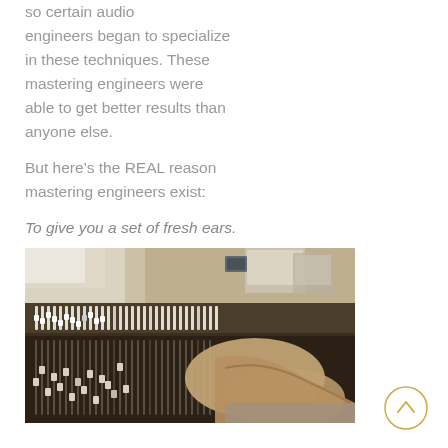so certain audio engineers began to specialize in these techniques. These mastering engineers were able to get better results than anyone else.
But here's the REAL reason mastering engineers exist:
To give you a set of fresh ears.
[Figure (photo): A person's hands working at a large professional audio mixing console in a recording studio, with monitors and equipment visible in the background. The image has a warm, slightly faded tone.]